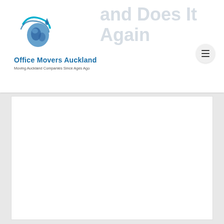[Figure (logo): Office Movers Auckland logo with globe and swoosh graphic in blue and teal]
Office Movers Auckland
Moving Auckland Companies Since Ages Ago
and Does It Again